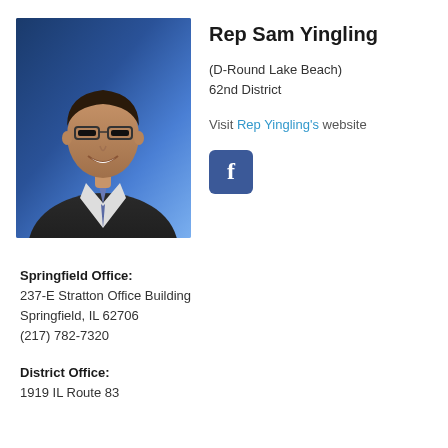[Figure (photo): Professional headshot of Rep Sam Yingling, a man wearing glasses, dark suit jacket, and a patterned tie, against a blue background]
Rep Sam Yingling
(D-Round Lake Beach)
62nd District
Visit Rep Yingling's website
[Figure (logo): Facebook icon - blue rounded square with white letter f]
Springfield Office:
237-E Stratton Office Building
Springfield, IL 62706
(217) 782-7320
District Office:
1919 IL Route 83